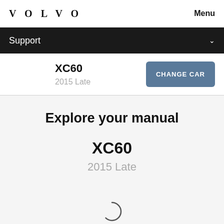VOLVO  Menu
Support
XC60
2015 Late
CHANGE CAR
Explore your manual
XC60
2015 Late
[Figure (other): Loading spinner arc indicator]